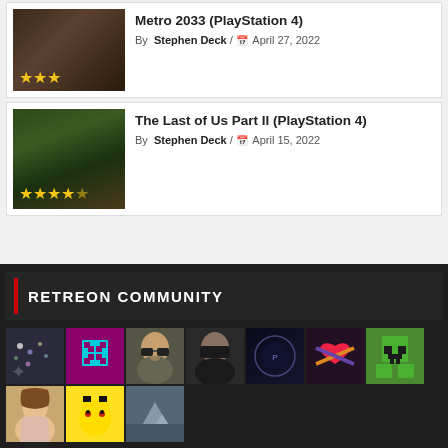[Figure (photo): Metro 2033 PlayStation 4 game thumbnail with 3 star rating overlay]
Metro 2033 (PlayStation 4)
By Stephen Deck / April 27, 2022
[Figure (photo): The Last of Us Part II PlayStation 4 game thumbnail with 4 star rating overlay]
The Last of Us Part II (PlayStation 4)
By Stephen Deck / April 15, 2022
RETREON COMMUNITY
[Figure (photo): Community avatar grid showing 10 user profile pictures including pixel art, portraits, and game characters]